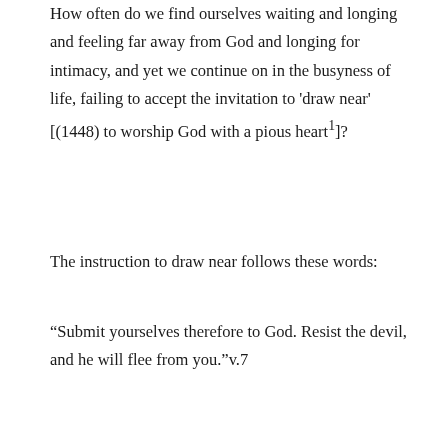How often do we find ourselves waiting and longing and feeling far away from God and longing for intimacy, and yet we continue on in the busyness of life, failing to accept the invitation to 'draw near' [(1448) to worship God with a pious heart¹]?
The instruction to draw near follows these words:
“Submit yourselves therefore to God. Resist the devil, and he will flee from you.”v.7